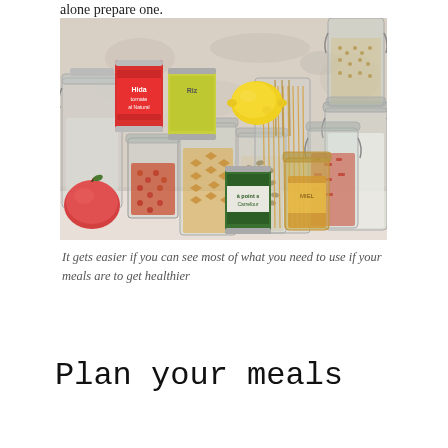alone prepare one.
[Figure (photo): A collection of glass jars, cans, and fresh produce arranged on a light surface. Items include jars of pasta, lentils, bow-tie pasta, seeds, flour, spices, canned tomatoes, canned vegetables, honey jar, a lemon, and an apple.]
It gets easier if you can see most of what you need to use if your meals are to get healthier
Plan your meals